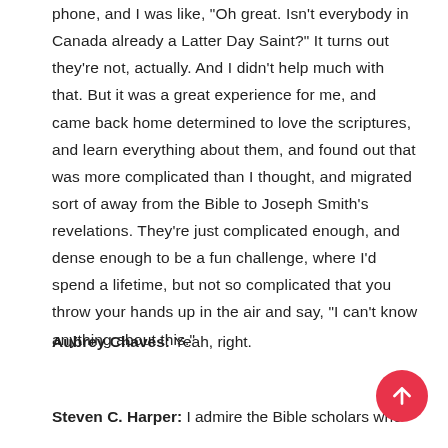phone, and I was like, "Oh great. Isn't everybody in Canada already a Latter Day Saint?" It turns out they're not, actually. And I didn't help much with that. But it was a great experience for me, and came back home determined to love the scriptures, and learn everything about them, and found out that was more complicated than I thought, and migrated sort of away from the Bible to Joseph Smith's revelations. They're just complicated enough, and dense enough to be a fun challenge, where I'd spend a lifetime, but not so complicated that you throw your hands up in the air and say, "I can't know anything about this."
Aubrey Chaves: Yeah, right.
Steven C. Harper: I admire the Bible scholars who